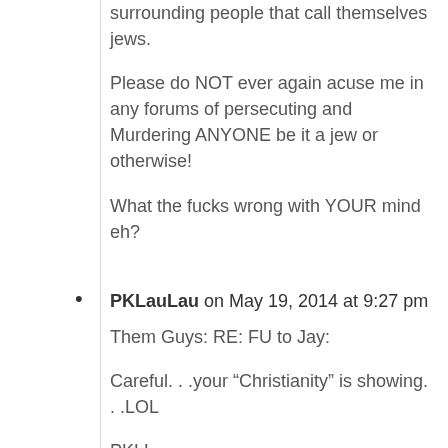surrounding people that call themselves jews.
Please do NOT ever again acuse me in any forums of persecuting and Murdering ANYONE be it a jew or otherwise!
What the fucks wrong with YOUR mind eh?
PKLauLau on May 19, 2014 at 9:27 pm
Them Guys: RE: FU to Jay:
Careful. . .your “Christianity” is showing. . .LOL
PKLL